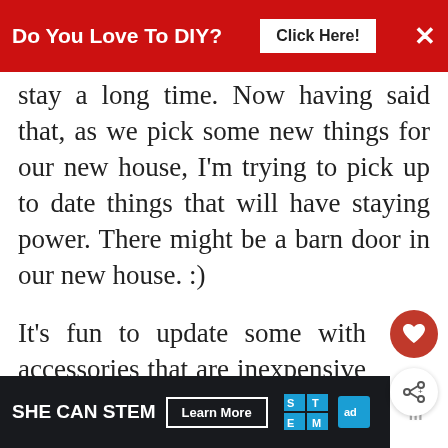Do You Love To DIY? Click Here! ×
stay a long time. Now having said that, as we pick some new things for our new house, I'm trying to pick up to date things that will have staying power. There might be a barn door in our new house. :)
It's fun to update some with accessories that are inexpensive and with little guilt attached.
REPLY DELETE
WHAT'S NEXT → Redecorating....
▾ REPLIES
[Figure (infographic): SHE CAN STEM advertisement banner with Learn More button, STEM logo, Ad Council logo]
WWC°